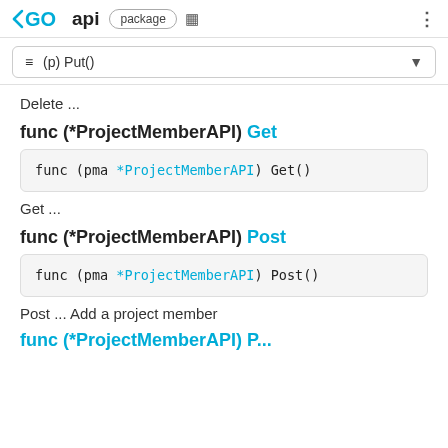GO api package
≡ (p) Put()
Delete ...
func (*ProjectMemberAPI) Get
func (pma *ProjectMemberAPI) Get()
Get ...
func (*ProjectMemberAPI) Post
func (pma *ProjectMemberAPI) Post()
Post ... Add a project member
func (*ProjectMemberAPI) P...